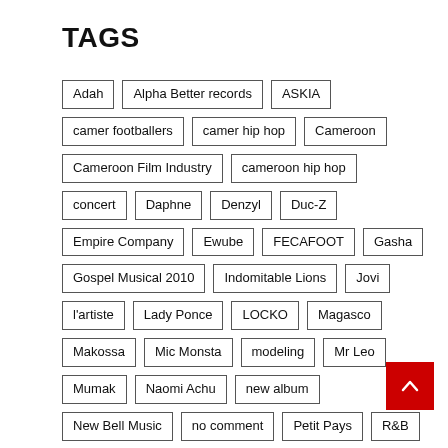TAGS
Adah
Alpha Better records
ASKIA
camer footballers
camer hip hop
Cameroon
Cameroon Film Industry
cameroon hip hop
concert
Daphne
Denzyl
Duc-Z
Empire Company
Ewube
FECAFOOT
Gasha
Gospel Musical 2010
Indomitable Lions
Jovi
l'artiste
Lady Ponce
LOCKO
Magasco
Makossa
Mic Monsta
modeling
Mr Leo
Mumak
Naomi Achu
new album
New Bell Music
no comment
Petit Pays
R&B
Salatiel
Sama Ndango
Samuel Eto'o